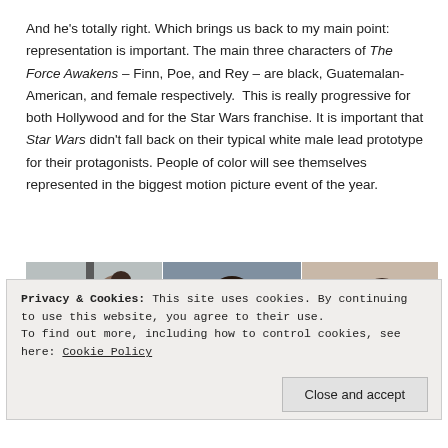And he's totally right. Which brings us back to my main point: representation is important. The main three characters of The Force Awakens – Finn, Poe, and Rey – are black, Guatemalan-American, and female respectively.  This is really progressive for both Hollywood and for the Star Wars franchise. It is important that Star Wars didn't fall back on their typical white male lead prototype for their protagonists. People of color will see themselves represented in the biggest motion picture event of the year.
[Figure (photo): A photo strip showing three characters from The Force Awakens side by side: a woman with hair up on the left, a man in the center, and a black man on the right.]
Privacy & Cookies: This site uses cookies. By continuing to use this website, you agree to their use.
To find out more, including how to control cookies, see here: Cookie Policy